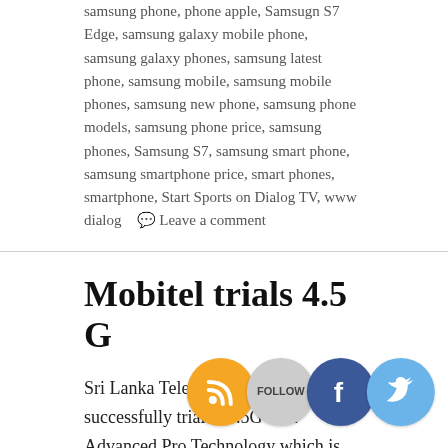samsung phone, phone apple, Samsugn S7 Edge, samsung galaxy mobile phone, samsung galaxy phones, samsung latest phone, samsung mobile, samsung mobile phones, samsung new phone, samsung phone models, samsung phone price, samsung phones, Samsung S7, samsung smart phone, samsung smartphone price, smart phones, smartphone, Start Sports on Dialog TV, www dialog   Leave a comment
Mobitel trials 4.5 G
Sri Lanka Telecom Mobitel, has successfully trialed 4.5G LTE Advanced Pro Technology which is capable of achieving speeds exceeding 1 Gbps.
Having launched the first Super 3.5G HSPA network in South Asia in December 2007, and subsequently trialed HSPA+, MIMO (Multiple Input Multiple Output) in 2009, another first in the region Sri Lanka Telecom Mobitel demonstrated 4G-LTE, technology